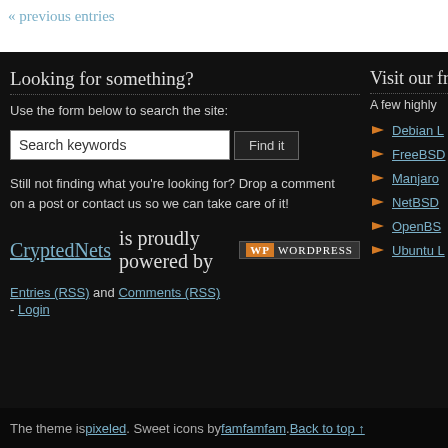« previous entries
Looking for something?
Use the form below to search the site:
Search keywords  Find it
Still not finding what you're looking for? Drop a comment on a post or contact us so we can take care of it!
CryptedNets is proudly powered by [WordPress]
Entries (RSS) and Comments (RSS) - Login
Visit our frie...
A few highly
Debian L...
FreeBSD
Manjaro
NetBSD
OpenBSD
Ubuntu L...
The theme is pixeled. Sweet icons by famfamfam. Back to top ↑